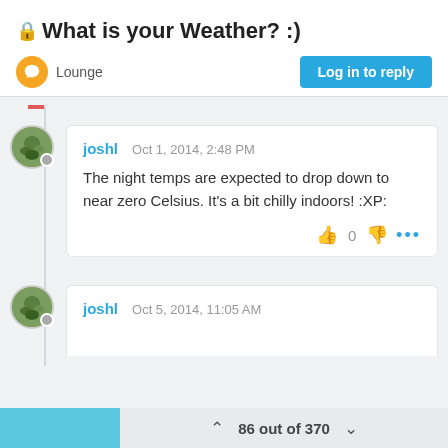🔒 What is your Weather? :)
Lounge
Log in to reply
joshl  Oct 1, 2014, 2:48 PM
The night temps are expected to drop down to near zero Celsius. It's a bit chilly indoors! :XP:
joshl  Oct 5, 2014, 11:05 AM
86 out of 370